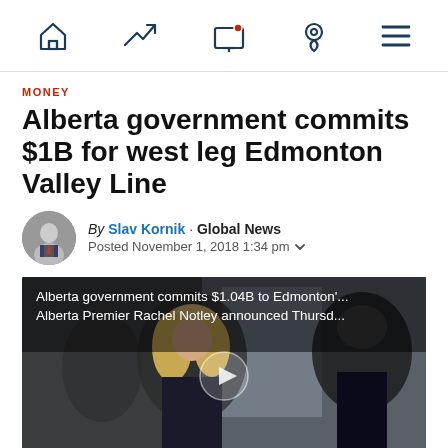Navigation bar with home, trending, live, location, and menu icons
MONEY
Alberta government commits $1B for west leg Edmonton Valley Line
By Slav Kornik · Global News
Posted November 1, 2018 1:34 pm
[Figure (screenshot): Video thumbnail showing Alberta Premier Rachel Notley at a press conference. Overlay text reads: 'Alberta government commits $1.04B to Edmonton'... Alberta Premier Rachel Notley announced Thursd...' with a play button in the center.]